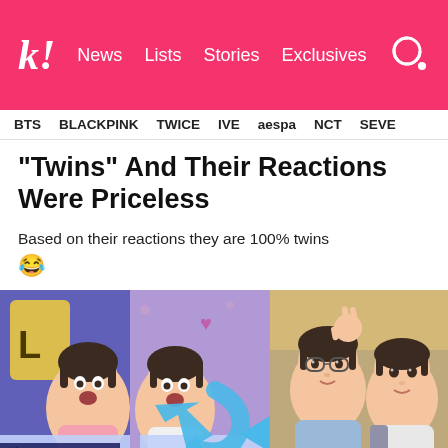k! News Lists Stories Exclusives
BTS
BLACKPINK
TWICE
IVE
aespa
NCT
SEVE
“Twins” And Their Reactions Were Priceless
Based on their reactions they are 100% twins 😂
[Figure (photo): Two young men with open mouths in surprised expressions at an MBC Radio studio, with text labels 영Di and 다Di visible on lower third graphics]
[Figure (photo): Two young men taking a selfie together, one wearing glasses making a peace sign, the other looking at camera]